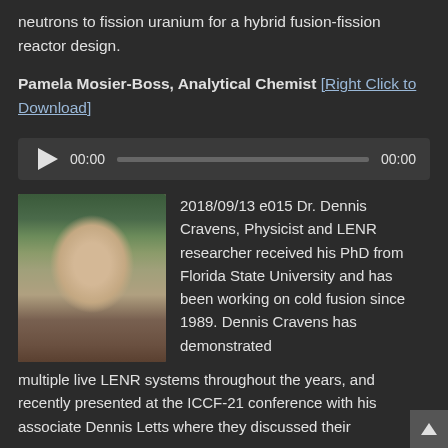neutrons to fission uranium for a hybrid fusion-fission reactor design.
Pamela Mosier-Boss, Analytical Chemist [Right Click to Download]
[Figure (other): Audio player with play button, progress bar showing 00:00 time on both left and right]
[Figure (photo): Portrait photo of Dr. Dennis Cravens, a man with grey hair and glasses, with bookshelves and butterfly display in background]
2018/09/13 e015 Dr. Dennis Cravens, Physicist and LENR researcher received his PhD from Florida State University and has been working on cold fusion since 1989. Dennis Cravens has demonstrated multiple live LENR systems throughout the years, and recently presented at the ICCF-21 conference with his associate Dennis Letts where they discussed their